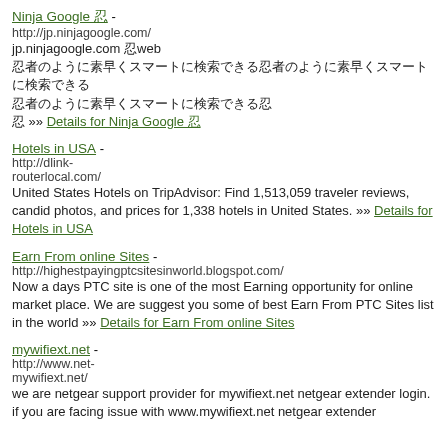Ninja Google 忍 - http://jp.ninjagoogle.com/ jp.ninjagoogle.com 忍web 忍者のように素早くスマートに検索できる 忍 »» Details for Ninja Google 忍
Hotels in USA - http://dlink-routerlocal.com/ United States Hotels on TripAdvisor: Find 1,513,059 traveler reviews, candid photos, and prices for 1,338 hotels in United States. »» Details for Hotels in USA
Earn From online Sites - http://highestpayingptcsitesinworld.blogspot.com/ Now a days PTC site is one of the most Earning opportunity for online market place. We are suggest you some of best Earn From PTC Sites list in the world »» Details for Earn From online Sites
mywifiext.net - http://www.net-mywifiext.net/ we are netgear support provider for mywifiext.net netgear extender login. if you are facing issue with www.mywifiext.net netgear extender